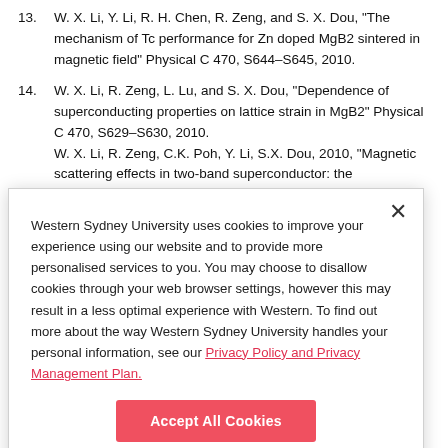13. W. X. Li, Y. Li, R. H. Chen, R. Zeng, and S. X. Dou, "The mechanism of Tc performance for Zn doped MgB2 sintered in magnetic field" Physical C 470, S644–S645, 2010.
14. W. X. Li, R. Zeng, L. Lu, and S. X. Dou, "Dependence of superconducting properties on lattice strain in MgB2" Physical C 470, S629–S630, 2010.
W. X. Li, R. Zeng, C.K. Poh, Y. Li, S.X. Dou, 2010, "Magnetic scattering effects in two-band superconductor: the
Western Sydney University uses cookies to improve your experience using our website and to provide more personalised services to you. You may choose to disallow cookies through your web browser settings, however this may result in a less optimal experience with Western. To find out more about the way Western Sydney University handles your personal information, see our Privacy Policy and Privacy Management Plan.
Accept All Cookies